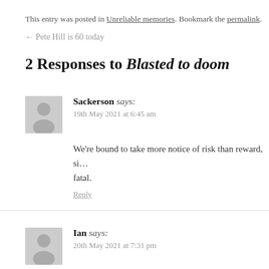This entry was posted in Unreliable memories. Bookmark the permalink.
← Pete Hill is 60 today
2 Responses to Blasted to doom
Sackerson says:
19th May 2021 at 6:45 am
We're bound to take more notice of risk than reward, si… fatal.
Reply
Ian says:
20th May 2021 at 7:31 pm
One of my students pointed out to me that for primitive…